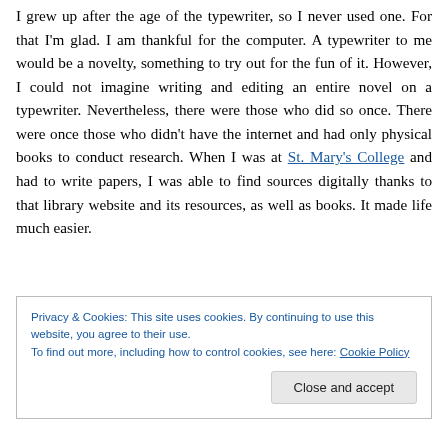I grew up after the age of the typewriter, so I never used one. For that I'm glad. I am thankful for the computer. A typewriter to me would be a novelty, something to try out for the fun of it. However, I could not imagine writing and editing an entire novel on a typewriter. Nevertheless, there were those who did so once. There were once those who didn't have the internet and had only physical books to conduct research. When I was at St. Mary's College and had to write papers, I was able to find sources digitally thanks to that library website and its resources, as well as books. It made life much easier.
Privacy & Cookies: This site uses cookies. By continuing to use this website, you agree to their use. To find out more, including how to control cookies, see here: Cookie Policy